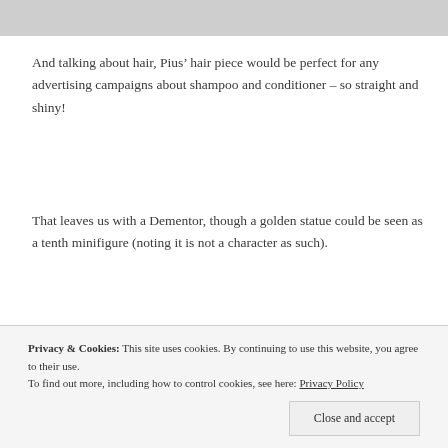[Figure (photo): Top portion of a grey/beige background image, cropped at top of page]
And talking about hair, Pius’ hair piece would be perfect for any advertising campaigns about shampoo and conditioner – so straight and shiny!
That leaves us with a Dementor, though a golden statue could be seen as a tenth minifigure (noting it is not a character as such).
[Figure (photo): Photo showing two LEGO minifigure heads/tops on a grey background: a black Dementor head on the left and a golden/yellow figure head on the right]
Privacy & Cookies: This site uses cookies. By continuing to use this website, you agree to their use.
To find out more, including how to control cookies, see here: Privacy Policy
Close and accept